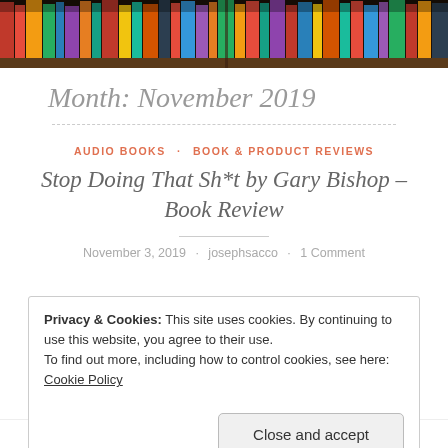[Figure (photo): Bookshelf with colorful books viewed from slightly below]
Month: November 2019
AUDIO BOOKS · BOOK & PRODUCT REVIEWS
Stop Doing That Sh*t by Gary Bishop – Book Review
November 3, 2019 · josephsacco · 1 Comment
Privacy & Cookies: This site uses cookies. By continuing to use this website, you agree to their use. To find out more, including how to control cookies, see here: Cookie Policy
Close and accept
It's called Stop Doing That Sh*t. If you read my book